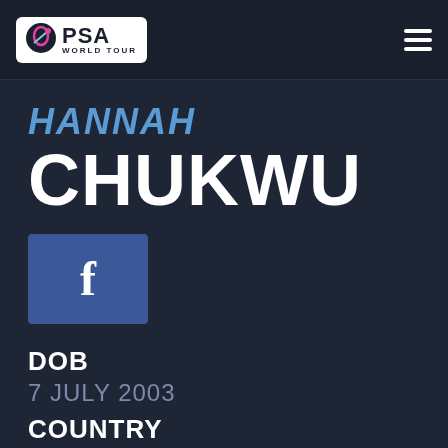PSA WORLD TOUR
HANNAH CHUKWU
[Figure (logo): Facebook social media button with the letter f]
DOB
7 JULY 2003
COUNTRY
HUNGARY